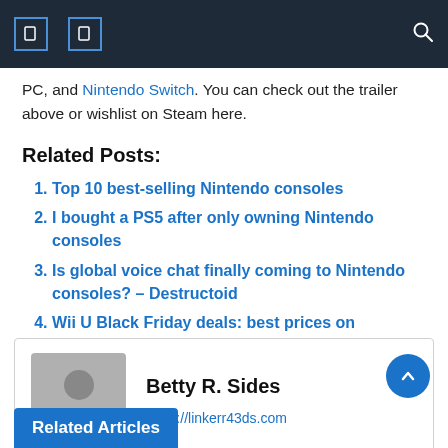PC, and Nintendo Switch. You can check out the trailer above or wishlist on Steam here.
Related Posts:
Top 10 best-selling Nintendo consoles
I bought a PS5 after only owning Nintendo consoles
Is global voice chat finally coming to Nintendo consoles? – Destructoid
Wii U Black Friday deals: best prices on Nintendo consoles, 3DS and games
Betty R. Sides
https://linkerr43ds.com